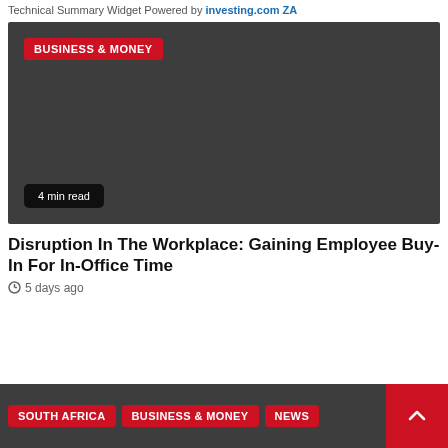Technical Summary Widget Powered by investing.com ZA
[Figure (photo): Dark grey article thumbnail image with BUSINESS & MONEY red category badge in top left and '4 min read' pill badge in bottom left]
Disruption In The Workplace: Gaining Employee Buy-In For In-Office Time
5 days ago
[Figure (infographic): Dark grey bottom strip with SOUTH AFRICA, BUSINESS & MONEY, NEWS red tag badges and a red scroll-to-top arrow button on the right]